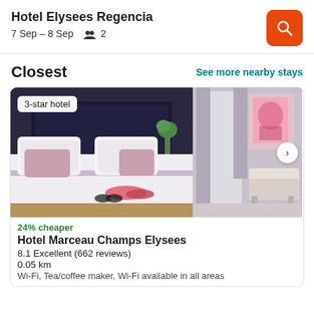Hotel Elysees Regencia
7 Sep – 8 Sep   👥 2
Closest
See more nearby stays
[Figure (photo): Hotel room photo showing a double bed with white and pink pillows, dark headboard, curtained window, and a small seating area with artwork on the wall. Badge overlay reads '3-star hotel'. Navigation arrow on right side.]
24% cheaper
Hotel Marceau Champs Elysees
8.1 Excellent (662 reviews)
0.05 km
Wi-Fi, Tea/coffee maker, Wi-Fi available in all areas